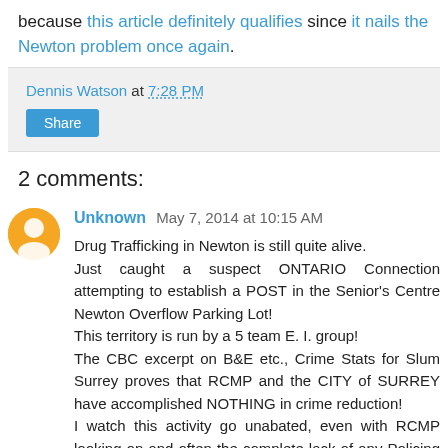because this article definitely qualifies since it nails the Newton problem once again.
Dennis Watson at 7:28 PM
Share
2 comments:
Unknown May 7, 2014 at 10:15 AM
Drug Trafficking in Newton is still quite alive. Just caught a suspect ONTARIO Connection attempting to establish a POST in the Senior's Centre Newton Overflow Parking Lot! This territory is run by a 5 team E. I. group! The CBC excerpt on B&E etc., Crime Stats for Slum Surrey proves that RCMP and the CITY of SURREY have accomplished NOTHING in crime reduction! I watch this activity go unabated, even with RCMP looking on and often the complete lack of any Policing presence -